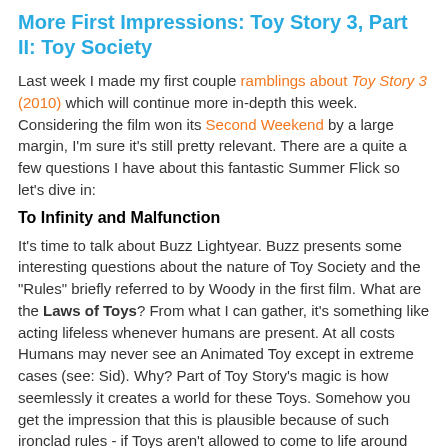More First Impressions: Toy Story 3, Part II: Toy Society
Last week I made my first couple ramblings about Toy Story 3 (2010) which will continue more in-depth this week. Considering the film won its Second Weekend by a large margin, I'm sure it's still pretty relevant. There are a quite a few questions I have about this fantastic Summer Flick so let's dive in:
To Infinity and Malfunction
It's time to talk about Buzz Lightyear. Buzz presents some interesting questions about the nature of Toy Society and the "Rules" briefly referred to by Woody in the first film. What are the Laws of Toys? From what I can gather, it's something like acting lifeless whenever humans are present. At all costs Humans may never see an Animated Toy except in extreme cases (see: Sid). Why? Part of Toy Story's magic is how seemlessly it creates a world for these Toys. Somehow you get the impression that this is plausible because of such ironclad rules - if Toys aren't allowed to come to life around